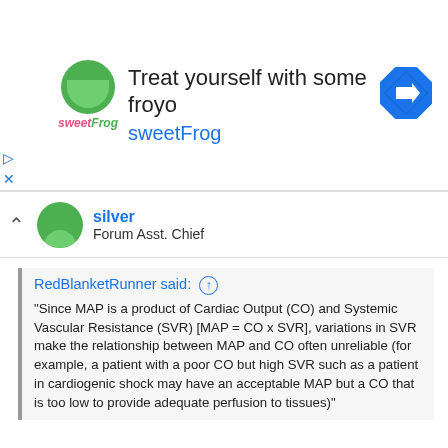[Figure (other): Advertisement banner for sweetFrog frozen yogurt with logo, text 'Treat yourself with some froyo sweetFrog', and a blue diamond arrow icon. Play and close controls on the left.]
silver
Forum Asst. Chief
RedBlanketRunner said: ↑

"Since MAP is a product of Cardiac Output (CO) and Systemic Vascular Resistance (SVR) [MAP = CO x SVR], variations in SVR make the relationship between MAP and CO often unreliable (for example, a patient with a poor CO but high SVR such as a patient in cardiogenic shock may have an acceptable MAP but a CO that is too low to provide adequate perfusion to tissues)"
What is this a quote from?
The relationship is very reliable. However CO and MAP do not equal tissue perfusion.